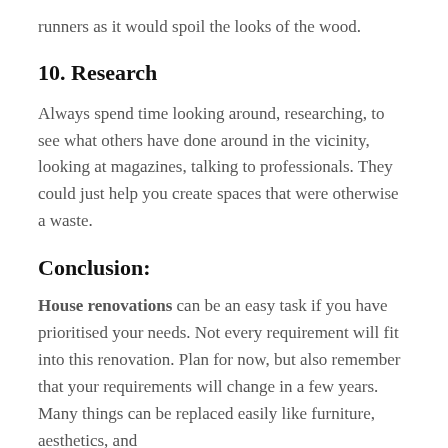runners as it would spoil the looks of the wood.
10. Research
Always spend time looking around, researching, to see what others have done around in the vicinity, looking at magazines, talking to professionals. They could just help you create spaces that were otherwise a waste.
Conclusion:
House renovations can be an easy task if you have prioritised your needs. Not every requirement will fit into this renovation. Plan for now, but also remember that your requirements will change in a few years. Many things can be replaced easily like furniture, aesthetics, and